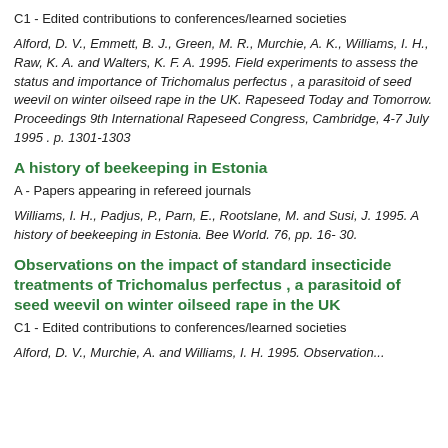C1 - Edited contributions to conferences/learned societies
Alford, D. V., Emmett, B. J., Green, M. R., Murchie, A. K., Williams, I. H., Raw, K. A. and Walters, K. F. A. 1995. Field experiments to assess the status and importance of Trichomalus perfectus , a parasitoid of seed weevil on winter oilseed rape in the UK. Rapeseed Today and Tomorrow. Proceedings 9th International Rapeseed Congress, Cambridge, 4-7 July 1995 . p. 1301-1303
A history of beekeeping in Estonia
A - Papers appearing in refereed journals
Williams, I. H., Padjus, P., Parn, E., Rootslane, M. and Susi, J. 1995. A history of beekeeping in Estonia. Bee World. 76, pp. 16-30.
Observations on the impact of standard insecticide treatments of Trichomalus perfectus , a parasitoid of seed weevil on winter oilseed rape in the UK
C1 - Edited contributions to conferences/learned societies
Alford, D. V., Murchie, A. and Williams, I. H. 1995. Observation...